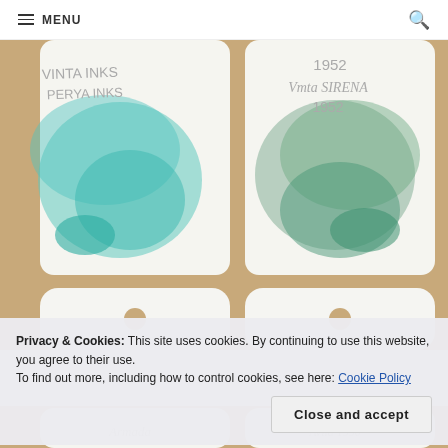MENU
[Figure (photo): Two ink swatches on white cards against a kraft/cardboard background. Left card labeled 'VINTA INKS PERYA INKS' with a teal/turquoise watercolor swatch. Right card labeled '1952 Vmta SIRENA 1952' with a muted green-teal watercolor swatch. Two more blank white tag cards visible below with circular holes.]
Privacy & Cookies: This site uses cookies. By continuing to use this website, you agree to their use.
To find out more, including how to control cookies, see here: Cookie Policy
Close and accept
[Figure (photo): Partial bottom view of more ink swatch cards, with handwritten labels partially visible: 'Armada' on the left and another label on the right.]